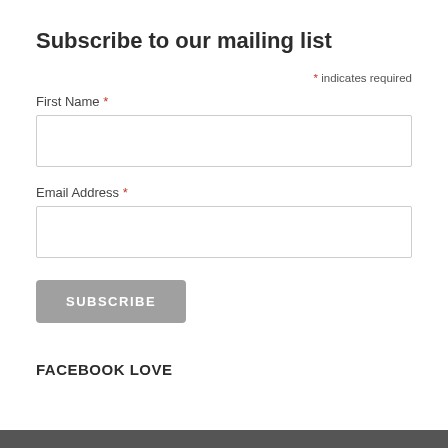Subscribe to our mailing list
* indicates required
First Name *
Email Address *
SUBSCRIBE
FACEBOOK LOVE